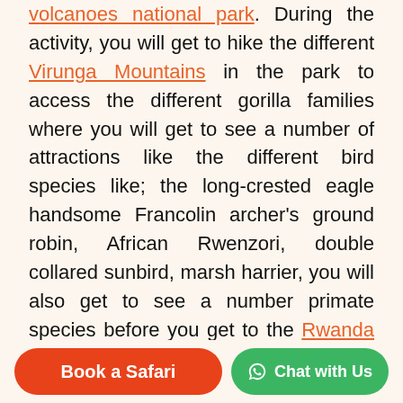volcanoes national park. During the activity, you will get to hike the different Virunga Mountains in the park to access the different gorilla families where you will get to see a number of attractions like the different bird species like; the long-crested eagle handsome Francolin archer's ground robin, African Rwenzori, double collared sunbird, marsh harrier, you will also get to see a number primate species before you get to the Rwanda gorilla family which will offer amazing experiences during the activity and when you get to the gorilla family, you will get to understand more about the primates by observing their feeding patterns, their grooming patterns
Book a Safari | Chat with Us